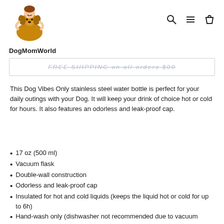[Figure (logo): DogMomWorld logo: cartoon illustration of a child hugging a golden dog, with text 'DogMomWorld' below in bold]
[Figure (other): Navigation icons: search (magnifying glass), menu (three horizontal lines), cart (shopping bag)]
FREE SHIPPING on all orders $00
This Dog Vibes Only stainless steel water bottle is perfect for your daily outings with your Dog. It will keep your drink of choice hot or cold for hours. It also features an odorless and leak-proof cap.
17 oz (500 ml)
Vacuum flask
Double-wall construction
Odorless and leak-proof cap
Insulated for hot and cold liquids (keeps the liquid hot or cold for up to 6h)
Hand-wash only (dishwasher not recommended due to vacuum